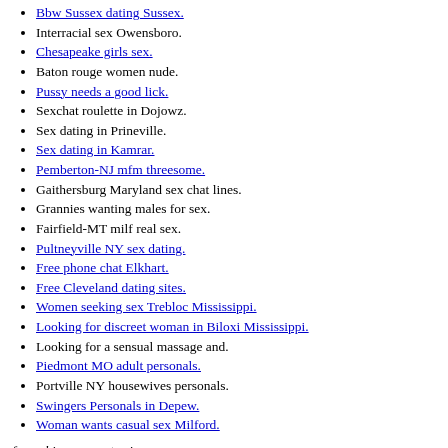Bbw Sussex dating Sussex.
Interracial sex Owensboro.
Chesapeake girls sex.
Baton rouge women nude.
Pussy needs a good lick.
Sexchat roulette in Dojowz.
Sex dating in Prineville.
Sex dating in Kamrar.
Pemberton-NJ mfm threesome.
Gaithersburg Maryland sex chat lines.
Grannies wanting males for sex.
Fairfield-MT milf real sex.
Pultneyville NY sex dating.
Free phone chat Elkhart.
Free Cleveland dating sites.
Women seeking sex Trebloc Mississippi.
Looking for discreet woman in Biloxi Mississippi.
Looking for a sensual massage and.
Piedmont MO adult personals.
Portville NY housewives personals.
Swingers Personals in Depew.
Woman wants casual sex Milford.
for : chicago puerto rican